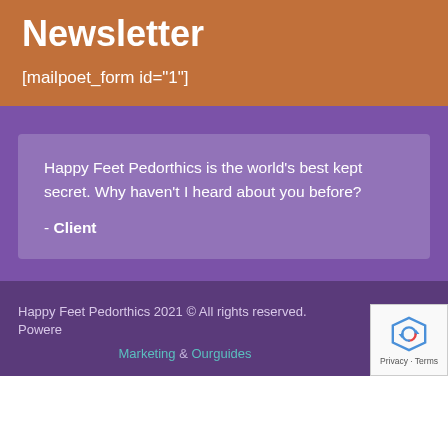Newsletter
[mailpoet_form id="1"]
Happy Feet Pedorthics is the world's best kept secret. Why haven't I heard about you before?
- Client
Happy Feet Pedorthics 2021 © All rights reserved. Powered Marketing & Ourguides